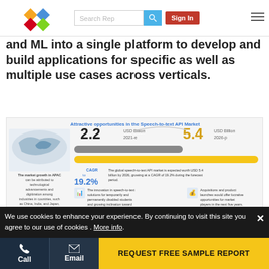[Figure (logo): Colored diamond logo (4 diamonds: orange, blue, red, green)]
and ML into a single platform to develop and build applications for specific as well as multiple use cases across verticals.
[Figure (infographic): Attractive opportunities in the Speech-to-text API Market infographic showing 2.2 USD Billion 2021-e and 5.4 USD Billion 2026-p with CAGR of 19.2%, including APAC market text and bullet points about market drivers including innovation in speech-to-text, acquisitions and product launches, rising need for voice-based devices, and North America market share.]
We use cookies to enhance your experience. By continuing to visit this site you agree to our use of cookies . More info.
REQUEST FREE SAMPLE REPORT